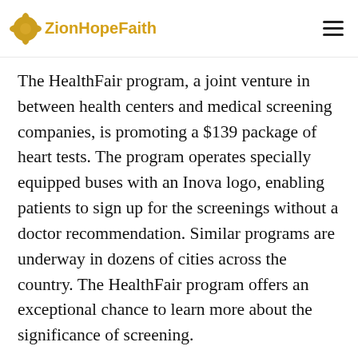ZionHopeFaith
The HealthFair program, a joint venture in between health centers and medical screening companies, is promoting a $139 package of heart tests. The program operates specially equipped buses with an Inova logo, enabling patients to sign up for the screenings without a doctor recommendation. Similar programs are underway in dozens of cities across the country. The HealthFair program offers an exceptional chance to learn more about the significance of screening.